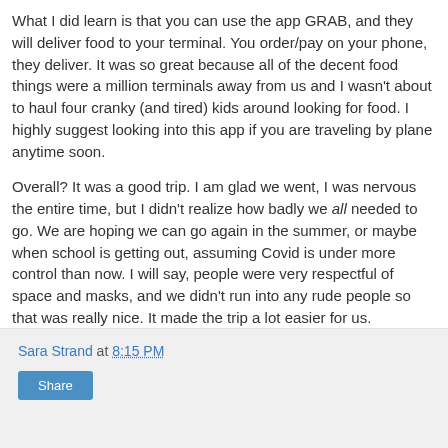What I did learn is that you can use the app GRAB, and they will deliver food to your terminal. You order/pay on your phone, they deliver. It was so great because all of the decent food things were a million terminals away from us and I wasn't about to haul four cranky (and tired) kids around looking for food. I highly suggest looking into this app if you are traveling by plane anytime soon.
Overall? It was a good trip. I am glad we went, I was nervous the entire time, but I didn't realize how badly we all needed to go. We are hoping we can go again in the summer, or maybe when school is getting out, assuming Covid is under more control than now. I will say, people were very respectful of space and masks, and we didn't run into any rude people so that was really nice. It made the trip a lot easier for us.
Sara Strand at 8:15 PM  Share